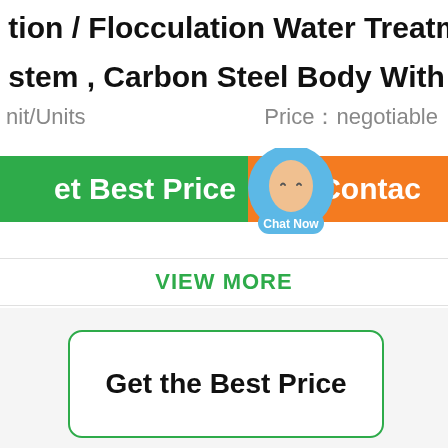tion / Flocculation Water Treatment System , Carbon Steel Body With B
nit/Units    Price：negotiable
[Figure (screenshot): Green 'Get Best Price' button on the left, orange 'Contact' button on the right, with a blue chat bubble overlay in the center showing 'Chat Now']
View More
Get the Best Price